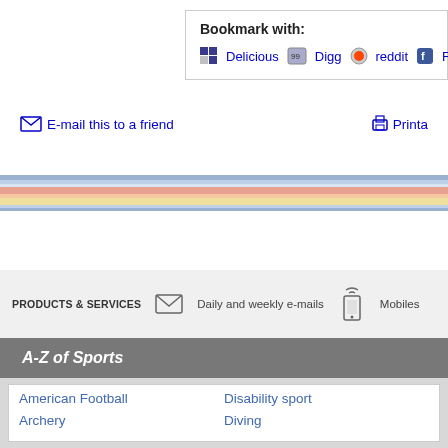Bookmark with:
Delicious  Digg  reddit  Faceb...
E-mail this to a friend   Printa...
[Figure (infographic): Colored horizontal stripe decoration bar with blue, red/salmon, yellow, and light blue stripes]
PRODUCTS & SERVICES   Daily and weekly e-mails   Mobiles
A-Z of Sports
American Football
Disability sport
Archery
Diving